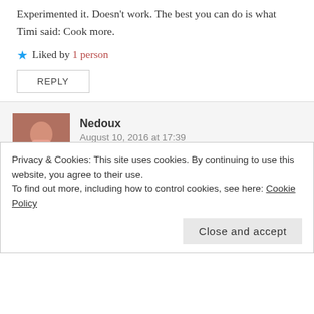Experimented it. Doesn’t work. The best you can do is what Timi said: Cook more.
Liked by 1 person
REPLY
Nedoux
August 10, 2016 at 17:39
Hi Uju,
Ah, you know how these things go, life happens and we find writing inspiration. 😀
Privacy & Cookies: This site uses cookies. By continuing to use this website, you agree to their use.
To find out more, including how to control cookies, see here: Cookie Policy
Close and accept
rest-of-the-week.